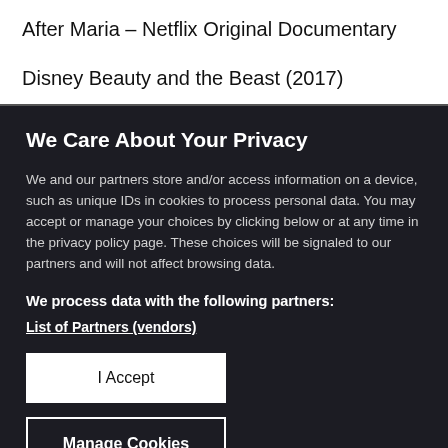After Maria – Netflix Original Documentary
Disney Beauty and the Beast (2017)
We Care About Your Privacy
We and our partners store and/or access information on a device, such as unique IDs in cookies to process personal data. You may accept or manage your choices by clicking below or at any time in the privacy policy page. These choices will be signaled to our partners and will not affect browsing data.
We process data with the following partners:
List of Partners (vendors)
I Accept
Manage Cookies